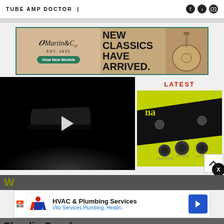TUBE AMP DOCTOR |
[Figure (photo): Martin & Co. EST. 1833 advertisement banner. Left side: Martin & Co. logo with 'View New Models' green button. Center: 'NEW CLASSICS HAVE ARRIVED.' in bold black text. Right: acoustic guitar photo.]
[Figure (screenshot): Dark video player showing a guitar pedal/bridge shape with a play button in the center, against a black background.]
LATEST
[Figure (photo): Yellow-green guitar pedal (Ibanez Tube Screamer style) with black diagonal stripe, showing knobs labeled TONE BYPASS, HIGH GAIN, CLIP SELECT, VOLUME, BOOST, LED CLIP.]
W
[Figure (infographic): HVAC & Plumbing Services advertisement. Vito Services Plumbing, Heatin.. with logo and blue navigation arrow icon.]
Claudio Sanchez